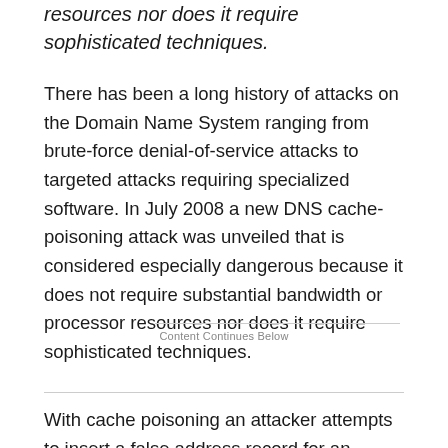resources nor does it require sophisticated techniques.
There has been a long history of attacks on the Domain Name System ranging from brute-force denial-of-service attacks to targeted attacks requiring specialized software. In July 2008 a new DNS cache-poisoning attack was unveiled that is considered especially dangerous because it does not require substantial bandwidth or processor resources nor does it require sophisticated techniques.
Content Continues Below
With cache poisoning an attacker attempts to insert a false address record for an Internet domain into the DNS.